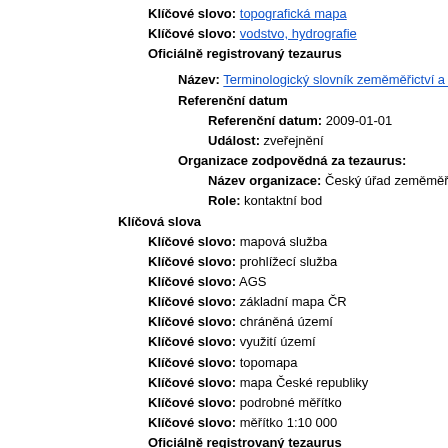Klíčové slovo: topografická mapa
Klíčové slovo: vodstvo, hydrografie
Oficiálně registrovaný tezaurus
Název: Terminologický slovník zeměměřictví a katastru nemovitostí
Referenční datum
Referenční datum: 2009-01-01
Událost: zveřejnění
Organizace zodpovědná za tezaurus:
Název organizace: Český úřad zeměměřický a katastrální
Role: kontaktní bod
Klíčová slova
Klíčové slovo: mapová služba
Klíčové slovo: prohlížecí služba
Klíčové slovo: AGS
Klíčové slovo: základní mapa ČR
Klíčové slovo: chráněná území
Klíčové slovo: využití území
Klíčové slovo: topomapa
Klíčové slovo: mapa České republiky
Klíčové slovo: podrobné měřítko
Klíčové slovo: měřítko 1:10 000
Oficiálně registrovaný tezaurus
Název:
Referenční datumOrganizace zodpovědná za tezaurus:
Název organizace: